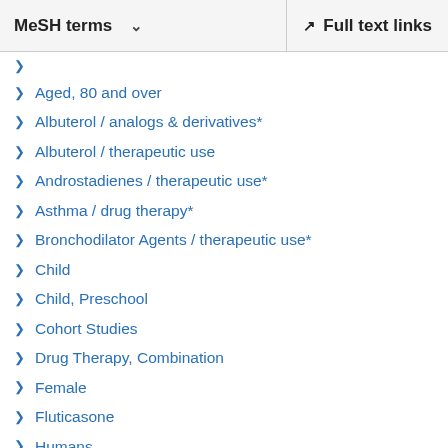MeSH terms   ∨   Full text links
Aged, 80 and over
Albuterol / analogs & derivatives*
Albuterol / therapeutic use
Androstadienes / therapeutic use*
Asthma / drug therapy*
Bronchodilator Agents / therapeutic use*
Child
Child, Preschool
Cohort Studies
Drug Therapy, Combination
Female
Fluticasone
Humans
Male
Middle Aged
Patient Compliance / statistics & numerical data*
Pulmonary Disease, Chronic Obstructive / drug